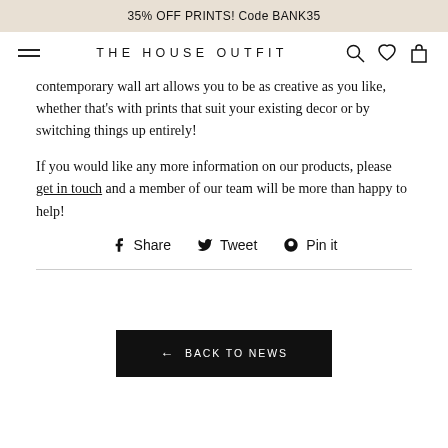35% OFF PRINTS! Code BANK35
THE HOUSE OUTFIT
contemporary wall art allows you to be as creative as you like, whether that's with prints that suit your existing decor or by switching things up entirely!
If you would like any more information on our products, please get in touch and a member of our team will be more than happy to help!
Share  Tweet  Pin it
← BACK TO NEWS